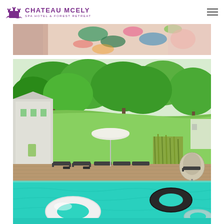[Figure (logo): Chateau Mcely Spa Hotel & Forest Retreat logo with purple castle icon]
[Figure (photo): Partial photo showing colorful patterned fabric or clothing at top]
[Figure (photo): Outdoor swimming pool at Chateau Mcely with turquoise water, white and black inflatable rings floating in pool, sunloungers on deck, umbrella, egg chair, lush green trees and lawn in background, white building on left]